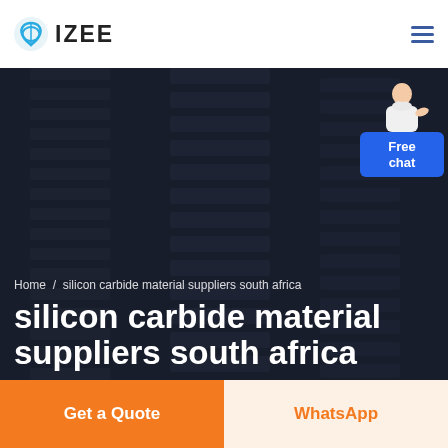IZEE
[Figure (screenshot): Dark hero banner with abstract industrial/architectural background showing striped structural elements. A customer service representative figure stands in the top right with a blue 'Free chat' button below. Breadcrumb reads: Home / silicon carbide material suppliers south africa. Main heading: silicon carbide material suppliers south africa in large bold white text.]
silicon carbide material suppliers south africa
Home / silicon carbide material suppliers south africa
Free chat
Get a Quote
WhatsApp